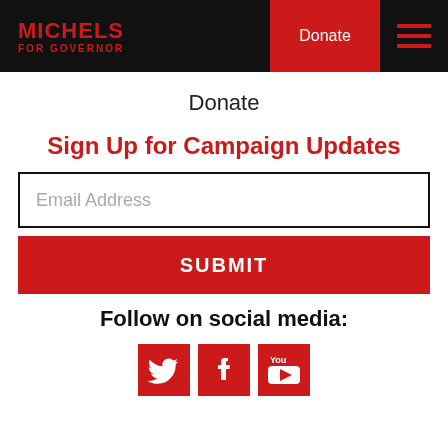MICHELS FOR GOVERNOR | Donate | Menu
Donate
Sign Up for Campaign Updates
Email Address
SUBMIT
Follow on social media:
[Figure (other): Social media icons: Twitter, Facebook, YouTube]